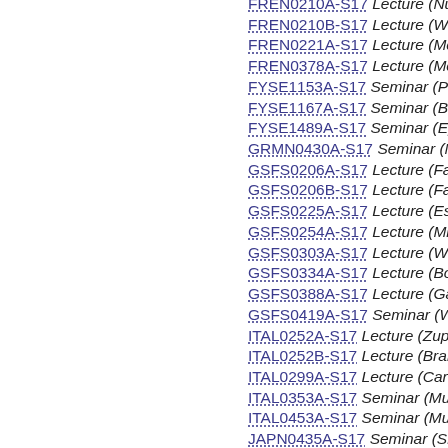FREN0210A-S17 Lecture (Nunley)
FREN0210B-S17 Lecture (Weber)
FREN0221A-S17 Lecture (McWillia…)
FREN0378A-S17 Lecture (McWillia…)
FYSE1153A-S17 Seminar (Price)
FYSE1167A-S17 Seminar (Berg)
FYSE1489A-S17 Seminar (Eppelsh…)
GRMN0430A-S17 Seminar (Matthi…)
GSFS0206A-S17 Lecture (Faraone…)
GSFS0206B-S17 Lecture (Faraone…)
GSFS0225A-S17 Lecture (Essig)
GSFS0254A-S17 Lecture (Millier)
GSFS0303A-S17 Lecture (Wright)
GSFS0334A-S17 Lecture (Bolton)
GSFS0388A-S17 Lecture (Gamero…)
GSFS0419A-S17 Seminar (Wells)
ITAL0252A-S17 Lecture (Zupan)
ITAL0252B-S17 Lecture (Brancoli B…)
ITAL0299A-S17 Lecture (Carletti)
ITAL0353A-S17 Seminar (Mula)
ITAL0453A-S17 Seminar (Mula)
JAPN0435A-S17 Seminar (Snyder)
PGSE0369A-S17 Lecture (Higa)